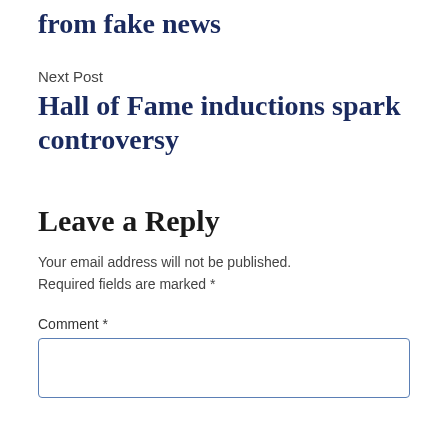from fake news
Next Post
Hall of Fame inductions spark controversy
Leave a Reply
Your email address will not be published. Required fields are marked *
Comment *